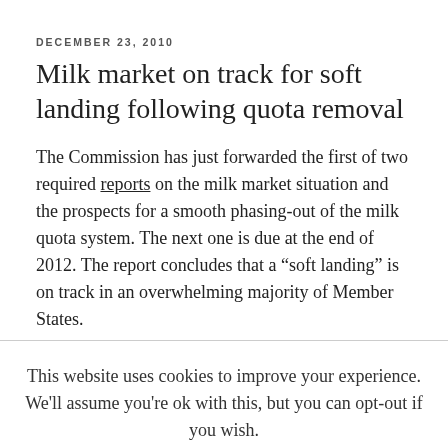DECEMBER 23, 2010
Milk market on track for soft landing following quota removal
The Commission has just forwarded the first of two required reports on the milk market situation and the prospects for a smooth phasing-out of the milk quota system. The next one is due at the end of 2012. The report concludes that a “soft landing” is on track in an overwhelming majority of Member States.
This website uses cookies to improve your experience. We'll assume you're ok with this, but you can opt-out if you wish.